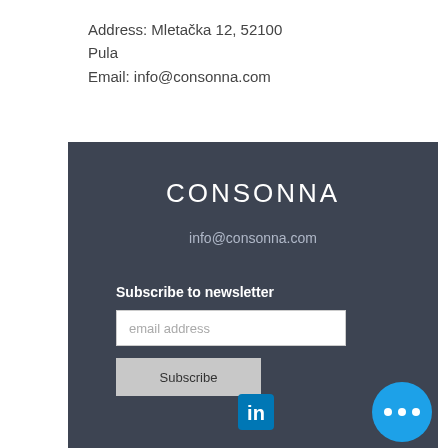Address: Mletačka 12, 52100 Pula
Email: info@consonna.com
CONSONNA
info@consonna.com
Subscribe to newsletter
email address
Subscribe
[Figure (logo): LinkedIn logo icon in blue square]
[Figure (other): Blue circle with three white dots (more options button)]